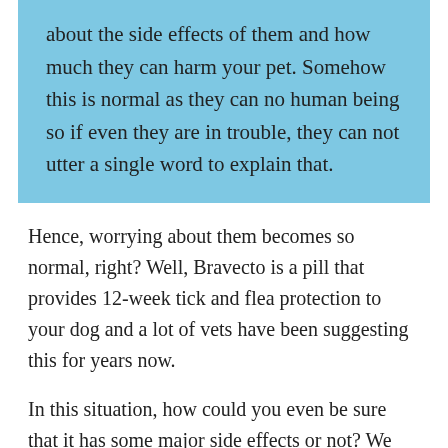about the side effects of them and how much they can harm your pet. Somehow this is normal as they can no human being so if even they are in trouble, they can not utter a single word to explain that.
Hence, worrying about them becomes so normal, right? Well, Bravecto is a pill that provides 12-week tick and flea protection to your dog and a lot of vets have been suggesting this for years now.
In this situation, how could you even be sure that it has some major side effects or not? We tend to rely on vets or doctors more than anyone else and that's